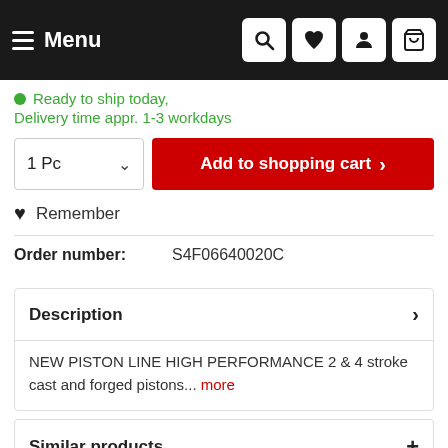Menu
Ready to ship today, Delivery time appr. 1-3 workdays
1 Pc  Add to shopping cart
Remember
Order number: S4F06640020C
Description
NEW PISTON LINE HIGH PERFORMANCE 2 & 4 stroke cast and forged pistons... more
Similar products
Customers also viewed